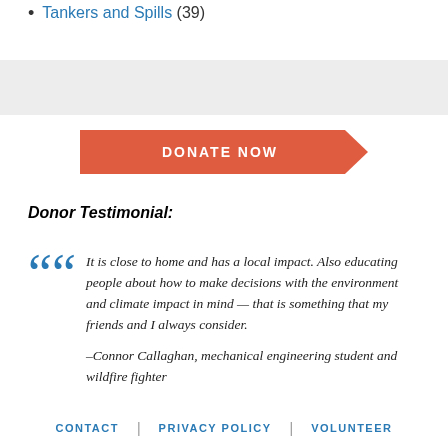Tankers and Spills (39)
[Figure (other): Gray horizontal band background section divider]
[Figure (other): Orange arrow-shaped DONATE NOW button]
Donor Testimonial:
It is close to home and has a local impact. Also educating people about how to make decisions with the environment and climate impact in mind — that is something that my friends and I always consider.

–Connor Callaghan, mechanical engineering student and wildfire fighter
CONTACT | PRIVACY POLICY | VOLUNTEER